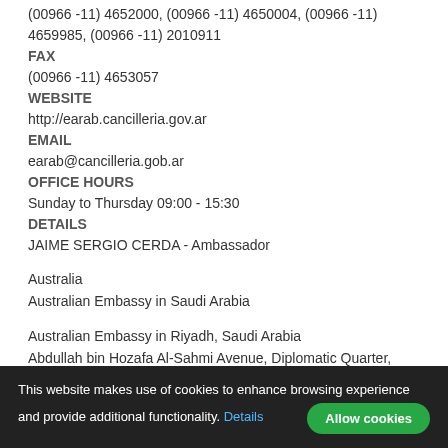(00966 -11) 4652000, (00966 -11) 4650004, (00966 -11) 4659985, (00966 -11) 2010911
FAX
(00966 -11) 4653057
WEBSITE
http://earab.cancilleria.gov.ar
EMAIL
earab@cancilleria.gob.ar
OFFICE HOURS
Sunday to Thursday 09:00 - 15:30
DETAILS
JAIME SERGIO CERDA - Ambassador
Australia
Australian Embassy in Saudi Arabia
Australian Embassy in Riyadh, Saudi Arabia
Abdullah bin Hozafa Al-Sahmi Avenue, Diplomatic Quarter,
This website makes use of cookies to enhance browsing experience and provide additional functionality. Details  Allow cookies